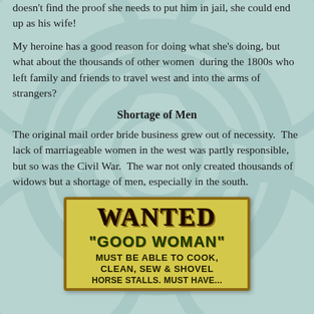doesn't find the proof she needs to put him in jail, she could end up as his wife!
My heroine has a good reason for doing what she's doing, but what about the thousands of other women  during the 1800s who left family and friends to travel west and into the arms of strangers?
Shortage of Men
The original mail order bride business grew out of necessity.  The lack of marriageable women in the west was partly responsible, but so was the Civil War.  The war not only created thousands of widows but a shortage of men, especially in the south.
[Figure (photo): A vintage style 'WANTED GOOD WOMAN' sign on a yellow-green background with distressed text reading: WANTED "GOOD WOMAN" MUST BE ABLE TO COOK, CLEAN, SEW & SHOVEL HORSE STALLS. MUST HAVE...]